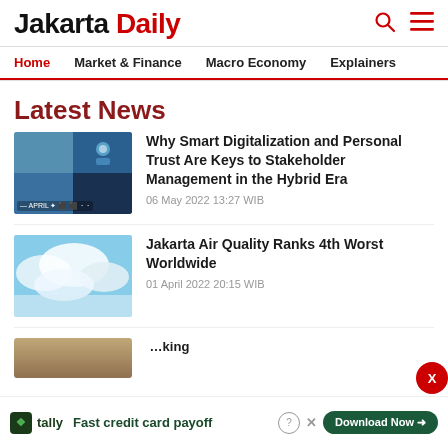Jakarta Daily
Home  Market & Finance  Macro Economy  Explainers
Latest News
Why Smart Digitalization and Personal Trust Are Keys to Stakeholder Management in the Hybrid Era
06 May 2022 13:27 WIB
Jakarta Air Quality Ranks 4th Worst Worldwide
01 April 2022 20:15 WIB
tally  Fast credit card payoff  Download Now